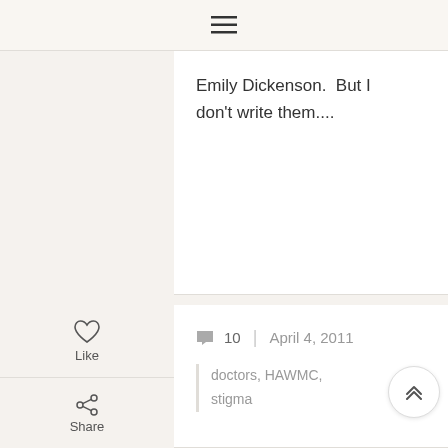≡
Emily Dickenson.  But I don't write them....
💬 10  |  April 4, 2011
doctors, HAWMC, stigma
HAWMC – Day Four: Absurd Headlines – Another Idiot
I wish I was making this